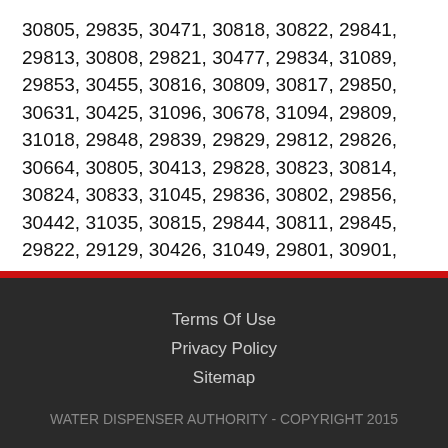30805, 29835, 30471, 30818, 30822, 29841, 29813, 30808, 29821, 30477, 29834, 31089, 29853, 30455, 30816, 30809, 30817, 29850, 30631, 30425, 31096, 30678, 31094, 29809, 31018, 29848, 29839, 29829, 29812, 29826, 30664, 30805, 30413, 29828, 30823, 30814, 30824, 30833, 31045, 29836, 30802, 29856, 30442, 31035, 30815, 29844, 30811, 29845, 29822, 29129, 30426, 31049, 29801, 30901, 30466, 29831, 30803, 30819, 30401, 29816, 30821
Terms Of Use
Privacy Policy
Sitemap
WATER DISPENSER AUTHORITY - COPYRIGHT 2015